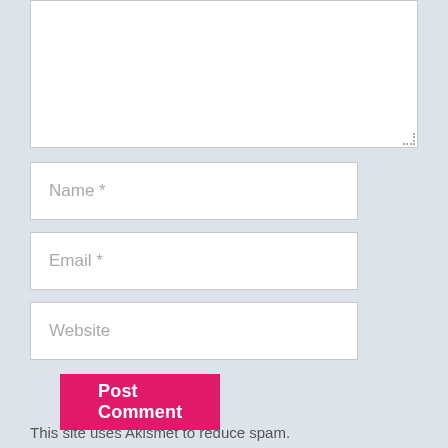[Figure (screenshot): Empty textarea comment input box with resize handle at bottom right]
Name *
Email *
Website
Post Comment
This site uses Akismet to reduce spam.